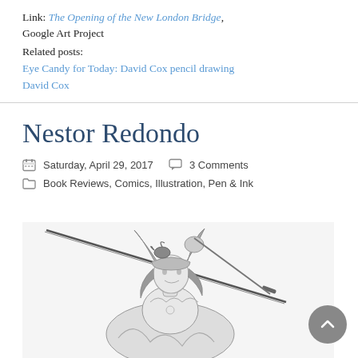Link: The Opening of the New London Bridge, Google Art Project
Related posts:
Eye Candy for Today: David Cox pencil drawing
David Cox
Nestor Redondo
Saturday, April 29, 2017  3 Comments
Book Reviews, Comics, Illustration, Pen & Ink
[Figure (illustration): Black and white ink illustration of a fantasy female warrior figure wearing a horned helmet with a bird, holding a sword diagonally across the composition. Detailed pen and ink style comic art.]